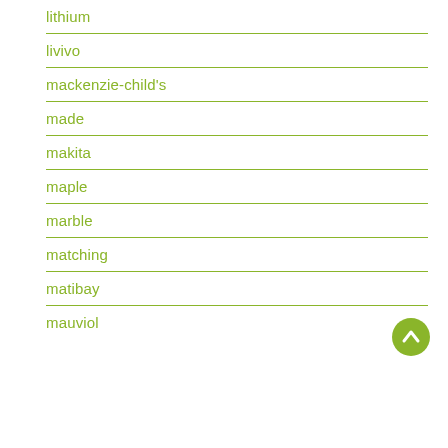lithium
livivo
mackenzie-child's
made
makita
maple
marble
matching
matibay
mauviol